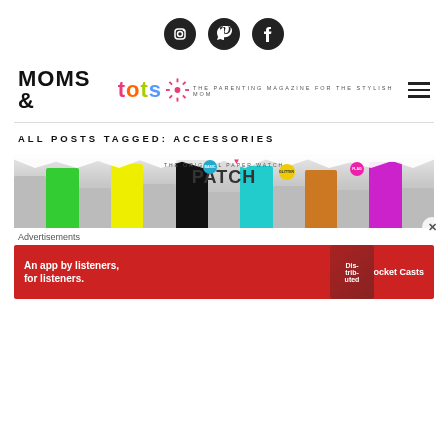[Figure (logo): Three social media icons: Instagram, Pinterest, Facebook in dark circles]
[Figure (logo): Moms & tots magazine logo with tagline THE PARENTING MAGAZINE FOR THE STYLISH MOM and hamburger menu icon]
ALL POSTS TAGGED: ACCESSORIES
[Figure (illustration): The Original Paper Watch PATCH advertisement banner with colorful watch strips (green, yellow, black, teal, orange, purple) and badge labels BASIC, GLITTER, FLAG]
Advertisements
[Figure (illustration): Pocket Casts advertisement: An app by listeners, for listeners. Red banner with phone image and Pocket Casts logo]